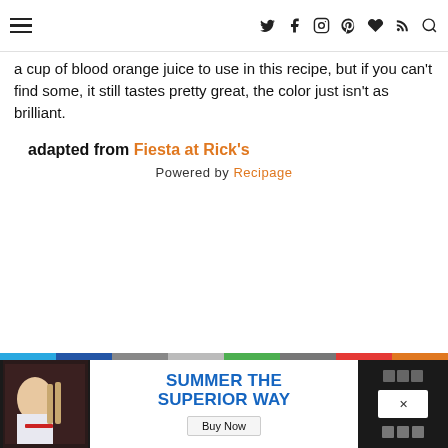[navigation bar with hamburger menu and social icons: Twitter, Facebook, Instagram, Pinterest, Heart, RSS, Search]
a cup of blood orange juice to use in this recipe, but if you can't find some, it still tastes pretty great, the color just isn't as brilliant.
adapted from Fiesta at Rick's
Powered by Recipage
[Figure (screenshot): Bottom advertisement banner: color bar strip, left side shows person at bar scene, center shows 'SUMMER THE SUPERIOR WAY' with Buy Now button, right side has close/share controls. Dark background on left and right sides.]